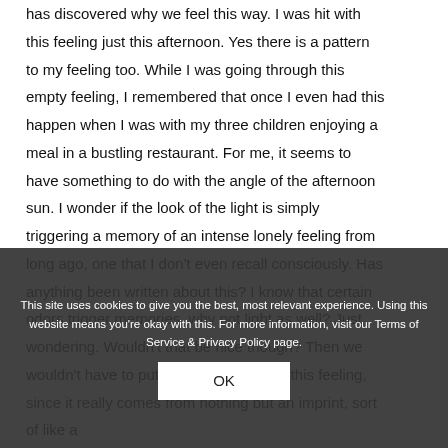has discovered why we feel this way. I was hit with this feeling just this afternoon. Yes there is a pattern to my feeling too. While I was going through this empty feeling, I remembered that once I even had this happen when I was with my three children enjoying a meal in a bustling restaurant. For me, it seems to have something to do with the angle of the afternoon sun. I wonder if the look of the light is simply triggering a memory of an intense lonely feeling from long ago, one that I don't even recall consciously. Has anything been written about this? I know that certain odors trigger memories, why not light as well? Just wondering. Wouldn't that be nice though? Then we wouldn't have to put any importance on this feeling, since it really comes from nothing but an imprint, sort of like a
This site uses cookies to give you the best, most relevant experience. Using this website means you're okay with this. For more information, visit our Terms of Service & Privacy Policy page.